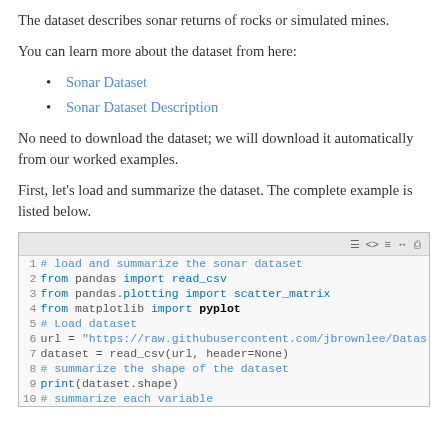The dataset describes sonar returns of rocks or simulated mines.
You can learn more about the dataset from here:
Sonar Dataset
Sonar Dataset Description
No need to download the dataset; we will download it automatically from our worked examples.
First, let's load and summarize the dataset. The complete example is listed below.
[Figure (screenshot): Code block showing Python code to load and summarize the sonar dataset, lines 1-10, with syntax highlighting in a monospace font.]